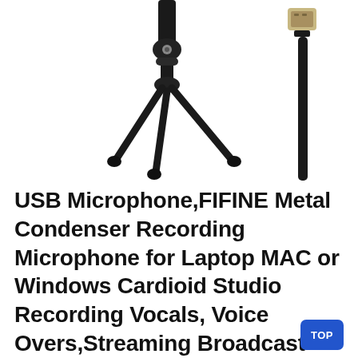[Figure (photo): Product photo showing a black tripod microphone stand on the left and a USB cable with USB-A connector on the right, both on a white background.]
USB Microphone,FIFINE Metal Condenser Recording Microphone for Laptop MAC or Windows Cardioid Studio Recording Vocals, Voice Overs,Streaming Broadcast and YouTube Videos-K669B